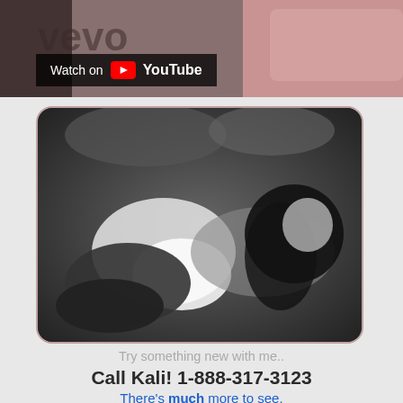[Figure (screenshot): Top portion of a webpage showing a video thumbnail with YouTube watch button overlay and Vevo branding, plus a black-and-white photo of a woman lying on a bed]
Try something new with me..
Call Kali! 1-888-317-3123
There's much more to see.
[Figure (infographic): Row of social media share icons: Twitter, Reddit, Skype, Pinterest, Email]